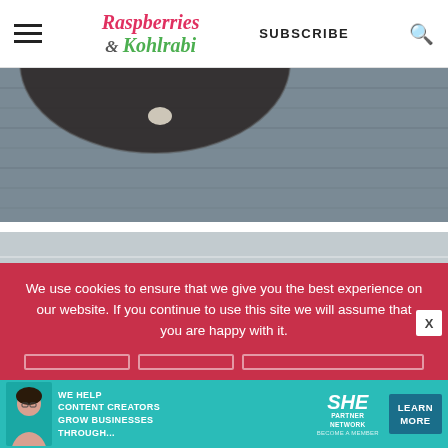Raspberries & Kohlrabi — SUBSCRIBE
[Figure (photo): Top-down view of a dark bowl on grey wood planks]
[Figure (photo): Top-down view of a white bowl partially visible on light grey wood]
We use cookies to ensure that we give you the best experience on our website. If you continue to use this site we will assume that you are happy with it.
[Figure (infographic): SHE Partner Network advertisement: WE HELP CONTENT CREATORS GROW BUSINESSES THROUGH... BECOME A MEMBER. LEARN MORE button.]